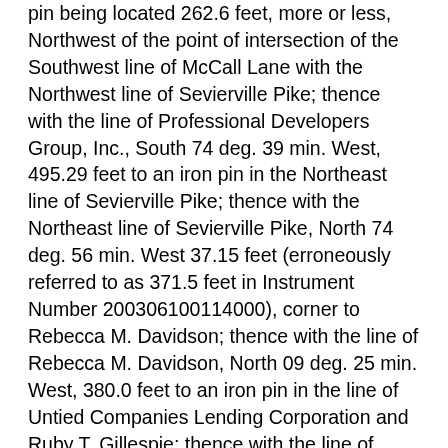pin being located 262.6 feet, more or less, Northwest of the point of intersection of the Southwest line of McCall Lane with the Northwest line of Sevierville Pike; thence with the line of Professional Developers Group, Inc., South 74 deg. 39 min. West, 495.29 feet to an iron pin in the Northeast line of Sevierville Pike; thence with the Northeast line of Sevierville Pike, North 74 deg. 56 min. West 37.15 feet (erroneously referred to as 371.5 feet in Instrument Number 200306100114000), corner to Rebecca M. Davidson; thence with the line of Rebecca M. Davidson, North 09 deg. 25 min. West, 380.0 feet to an iron pin in the line of Untied Companies Lending Corporation and Ruby T. Gillespie; thence with the line of Ruby T. Gillespie the following calls and distances, South 50 deg. 26 min. East, 162.6 feet to an iron pin; thence , North 69 deg. 46 min. East, 270.0 feet to an iron pin in the Southwest line of